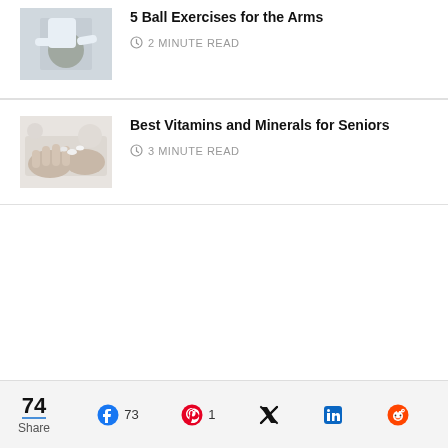5 Ball Exercises for the Arms
2 MINUTE READ
[Figure (photo): Person doing ball exercises for the arms]
Best Vitamins and Minerals for Seniors
3 MINUTE READ
[Figure (photo): Elderly person holding vitamins/minerals in hand]
74 Share | 73 Facebook | 1 Pinterest | Twitter | LinkedIn | Reddit